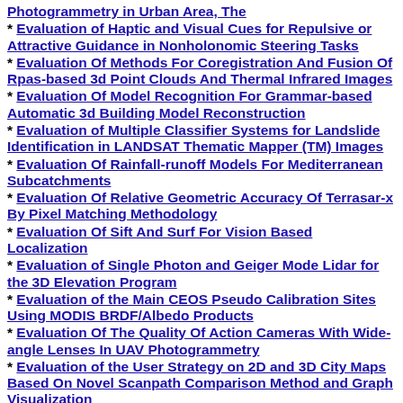Photogrammetry in Urban Area, The
Evaluation of Haptic and Visual Cues for Repulsive or Attractive Guidance in Nonholonomic Steering Tasks
Evaluation Of Methods For Coregistration And Fusion Of Rpas-based 3d Point Clouds And Thermal Infrared Images
Evaluation Of Model Recognition For Grammar-based Automatic 3d Building Model Reconstruction
Evaluation of Multiple Classifier Systems for Landslide Identification in LANDSAT Thematic Mapper (TM) Images
Evaluation Of Rainfall-runoff Models For Mediterranean Subcatchments
Evaluation Of Relative Geometric Accuracy Of Terrasar-x By Pixel Matching Methodology
Evaluation Of Sift And Surf For Vision Based Localization
Evaluation of Single Photon and Geiger Mode Lidar for the 3D Elevation Program
Evaluation of the Main CEOS Pseudo Calibration Sites Using MODIS BRDF/Albedo Products
Evaluation Of The Quality Of Action Cameras With Wide-angle Lenses In UAV Photogrammetry
Evaluation of the User Strategy on 2D and 3D City Maps Based On Novel Scanpath Comparison Method and Graph Visualization
Evaluation Of Various Spectral Inputs For Estimation Of Forest Biochemical And Structural Properties From Airborne Imaging Spectrometer Data